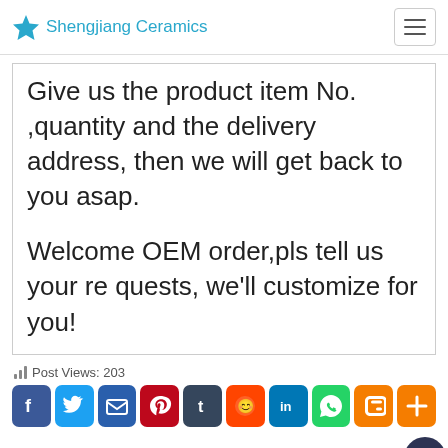Shengjiang Ceramics
Give us the product item No. ,quantity and the delivery address, then we will get back to you asap.
Welcome OEM order,pls tell us your requests, we'll customize for you!
Post Views: 203
[Figure (infographic): Row of social media share buttons: Facebook, Twitter, Email, Pinterest, Tumblr, Reddit, LinkedIn, WhatsApp, Blogger, More]